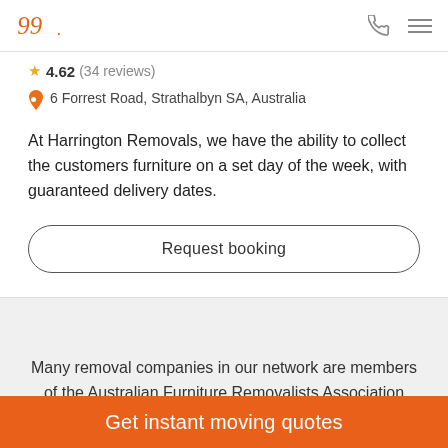4.62 (34 reviews)
6 Forrest Road, Strathalbyn SA, Australia
At Harrington Removals, we have the ability to collect the customers furniture on a set day of the week, with guaranteed delivery dates.
Request booking
Many removal companies in our network are members of the Australian Furniture Removalists Association (AFRA)
Get instant moving quotes